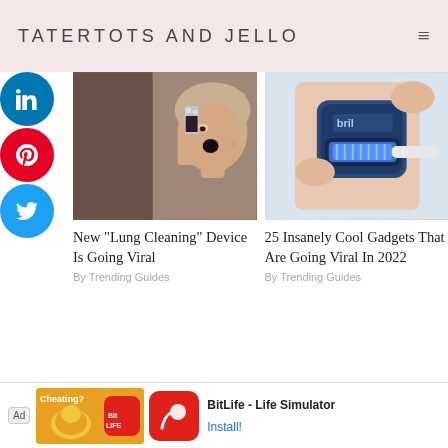TATERTOTS AND JELLO
[Figure (screenshot): LinkedIn social share button (blue circle)]
[Figure (screenshot): Pinterest social share button (red circle with P icon)]
[Figure (screenshot): Twitter social share button (blue circle with bird icon)]
[Figure (photo): Woman drinking from a small glass, appears to be taking a shot]
New "Lung Cleaning" Device Is Going Viral
By Trending Guides
[Figure (photo): Hand holding a blue Bril device with a toothbrush inserted]
25 Insanely Cool Gadgets That Are Going Viral In 2022
By Trending Guides
[Figure (photo): Partial thumbnail of article with teal/green background]
[Figure (photo): Partial thumbnail showing a dark figure]
[Figure (screenshot): Ad banner: BitLife - Life Simulator advertisement with Install button]